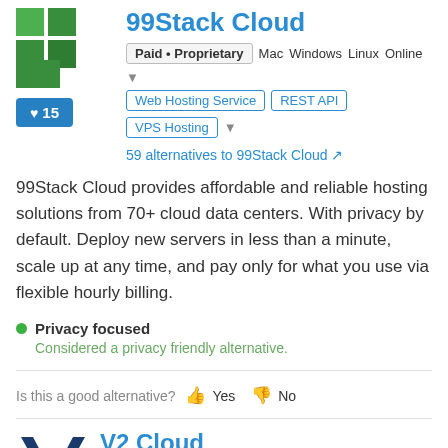99Stack Cloud
Paid • Proprietary   Mac   Windows   Linux   Online
Web Hosting Service   REST API   VPS Hosting
59 alternatives to 99Stack Cloud
99Stack Cloud provides affordable and reliable hosting solutions from 70+ cloud data centers. With privacy by default. Deploy new servers in less than a minute, scale up at any time, and pay only for what you use via flexible hourly billing.
Privacy focused
Considered a privacy friendly alternative.
Is this a good alternative? Yes No
V2 Cloud
Paid • Proprietary   Windows